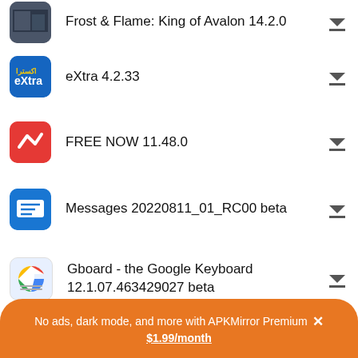Frost & Flame: King of Avalon 14.2.0
eXtra 4.2.33
FREE NOW 11.48.0
Messages 20220811_01_RC00 beta
Gboard - the Google Keyboard 12.1.07.463429027 beta
The New York Times 9.69.0
No ads, dark mode, and more with APKMirror Premium × $1.99/month